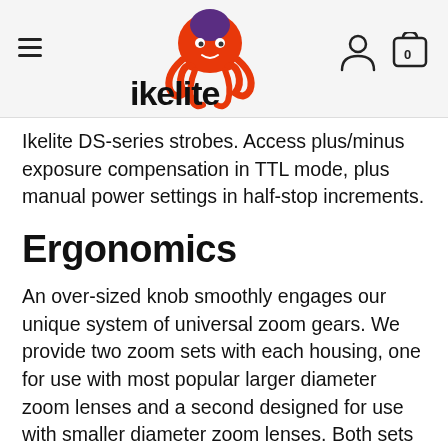[Figure (logo): Ikelite logo with octopus graphic above the text 'ikelite' in bold black lettering]
Ikelite DS-series strobes. Access plus/minus exposure compensation in TTL mode, plus manual power settings in half-stop increments.
Ergonomics
An over-sized knob smoothly engages our unique system of universal zoom gears. We provide two zoom sets with each housing, one for use with most popular larger diameter zoom lenses and a second designed for use with smaller diameter zoom lenses. Both sets are light-weight and easy to install with...